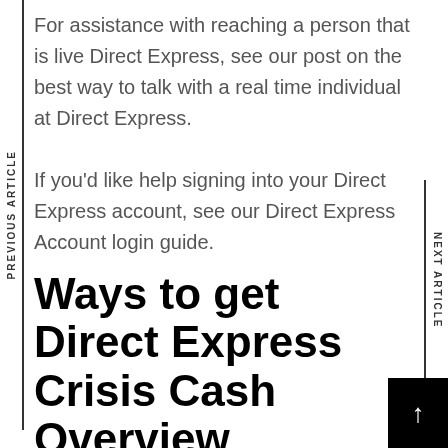For assistance with reaching a person that is live Direct Express, see our post on the best way to talk with a real time individual at Direct Express.

If you'd like help signing into your Direct Express account, see our Direct Express Account login guide.
Ways to get Direct Express Crisis Cash Overview